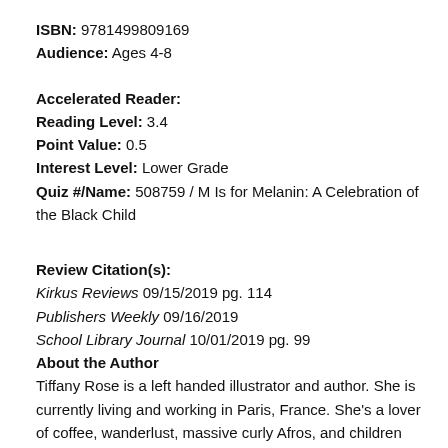ISBN: 9781499809169
Audience: Ages 4-8
Accelerated Reader:
Reading Level: 3.4
Point Value: 0.5
Interest Level: Lower Grade
Quiz #/Name: 508759 / M Is for Melanin: A Celebration of the Black Child
Review Citation(s):
Kirkus Reviews 09/15/2019 pg. 114
Publishers Weekly 09/16/2019
School Library Journal 10/01/2019 pg. 99
About the Author
Tiffany Rose is a left handed illustrator and author. She is currently living and working in Paris, France. She's a lover of coffee, wanderlust, massive curly Afros, and children being their imaginative, quirky, free selves. She is a full time teacher, part